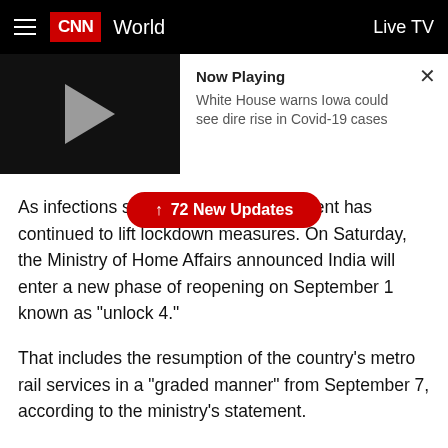CNN World — Live TV
[Figure (screenshot): CNN video player showing 'Now Playing: White House warns Iowa could see dire rise in Covid-19 cases' with a play button on dark background and a close (X) button]
As infections soar, the Indian government has continued to lift lockdown measures. On Saturday, the Ministry of Home Affairs announced India will enter a new phase of reopening on September 1 known as "unlock 4."
That includes the resumption of the country's metro rail services in a "graded manner" from September 7, according to the ministry's statement.
Under the new rules, gatherings of up to 100 people will be permitted at sports, entertainment, cultural, religious and political events outside of hot-spot areas from September 21, with mandatory face mask wearing